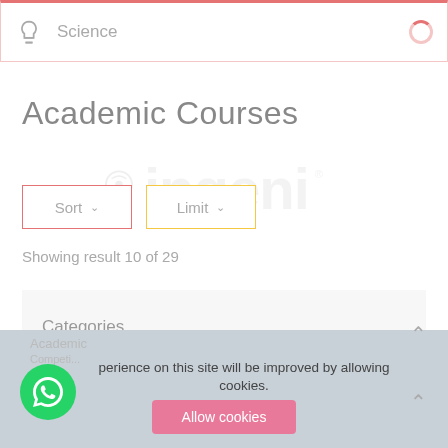Science
Academic Courses
Sort
Limit
Showing result 10 of 29
Categories
Your experience on this site will be improved by allowing cookies.
Allow cookies